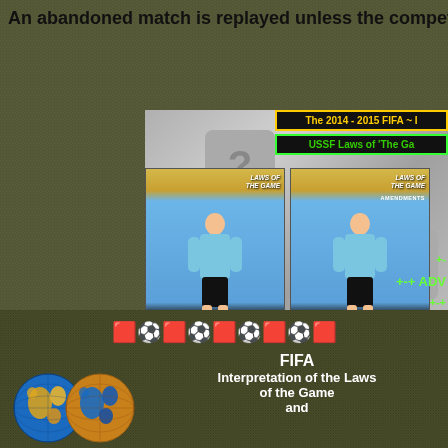An abandoned match is replayed unless the competition rules p...
[Figure (illustration): Two FIFA Laws of the Game book covers side by side, showing a referee in a light blue shirt, with yellow title text overlay reading 'The 2014 - 2015 FIFA ~ ... USSF Laws of The Ga...']
++- ADV... +-+
[Figure (illustration): Red/yellow card and soccer ball emoji icons repeated in a row]
[Figure (logo): Two overlapping FIFA soccer ball globe logos in blue and yellow/orange]
FIFA
Interpretation of the Laws of the Game
and